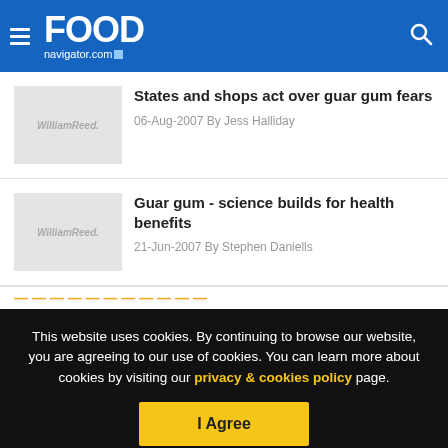FOODnavigator.com
States and shops act over guar gum fears
06-Aug-2007 By Jess Halliday
Guar gum - science builds for health benefits
21-Jun-2007 By Stephen Daniells
This website uses cookies. By continuing to browse our website, you are agreeing to our use of cookies. You can learn more about cookies by visiting our privacy & cookies policy page.
I Agree